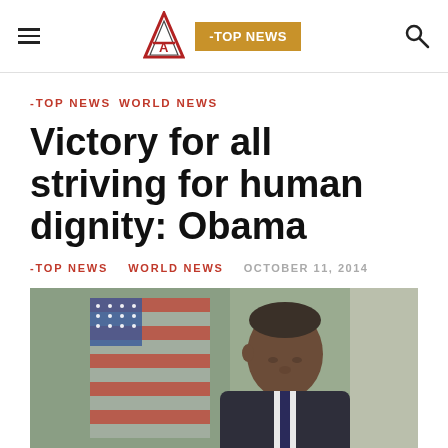≡  [Logo A]  -TOP NEWS  🔍
-TOP NEWS WORLD NEWS
Victory for all striving for human dignity: Obama
-TOP NEWS WORLD NEWS  OCTOBER 11, 2014
[Figure (photo): Barack Obama speaking outdoors, with an American flag visible in the background, in what appears to be the White House Rose Garden.]